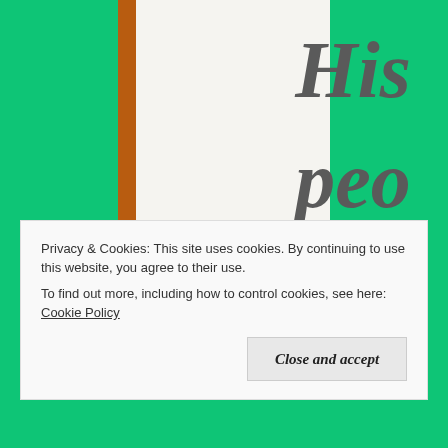[Figure (illustration): Book cover with green background, an orange/brown vertical stripe on the left side of a white center panel, and large italic bold gray text reading 'His people' (partially visible, with 'ble' cut off at the bottom)]
Privacy & Cookies: This site uses cookies. By continuing to use this website, you agree to their use. To find out more, including how to control cookies, see here: Cookie Policy
Close and accept